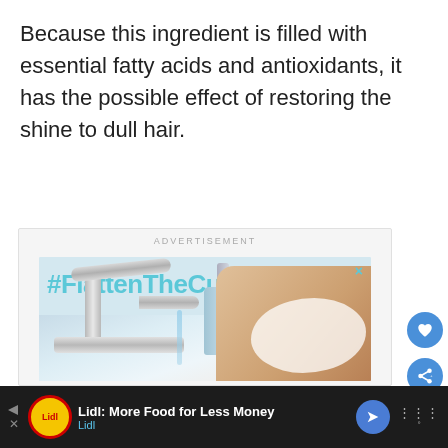Because this ingredient is filled with essential fatty acids and antioxidants, it has the possible effect of restoring the shine to dull hair.
[Figure (photo): Advertisement banner showing #FlattenTheCurve hashtag above a photo of a chrome faucet with running water, a blue soap dispenser, and hands being washed with foam. Close button (X) in top right corner.]
[Figure (screenshot): Bottom navigation bar with Lidl advertisement: Lidl logo (yellow circle with red border), text 'Lidl: More Food for Less Money' and 'Lidl' subtitle, blue navigation arrow button, and menu icon with degrees symbol.]